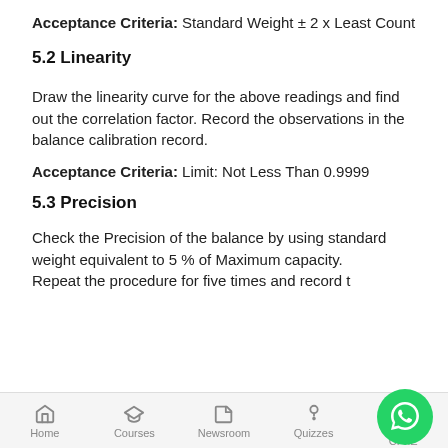Acceptance Criteria: Standard Weight ± 2 x Least Count
5.2 Linearity
Draw the linearity curve for the above readings and find out the correlation factor. Record the observations in the balance calibration record.
Acceptance Criteria: Limit: Not Less Than 0.9999
5.3 Precision
Check the Precision of the balance by using standard weight equivalent to 5 % of Maximum capacity.
Repeat the procedure for five times and record t
Home   Courses   Newsroom   Quizzes   CPhE